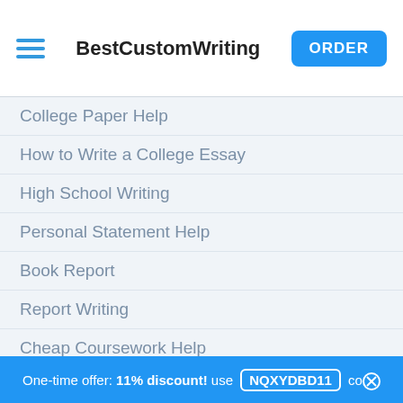BestCustomWriting | ORDER
College Paper Help
How to Write a College Essay
High School Writing
Personal Statement Help
Book Report
Report Writing
Cheap Coursework Help
Literary Research Paper
Essay Assistance
Academic Writing Services
One-time offer: 11% discount! use NQXYDBD11 code